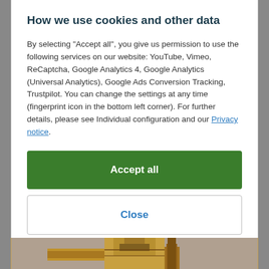How we use cookies and other data
By selecting "Accept all", you give us permission to use the following services on our website: YouTube, Vimeo, ReCaptcha, Google Analytics 4, Google Analytics (Universal Analytics), Google Ads Conversion Tracking, Trustpilot. You can change the settings at any time (fingerprint icon in the bottom left corner). For further details, please see Individual configuration and our Privacy notice.
Accept all
Close
Configuration
[Figure (photo): Bottom portion of a product image showing brass/metal valve or fitting equipment]